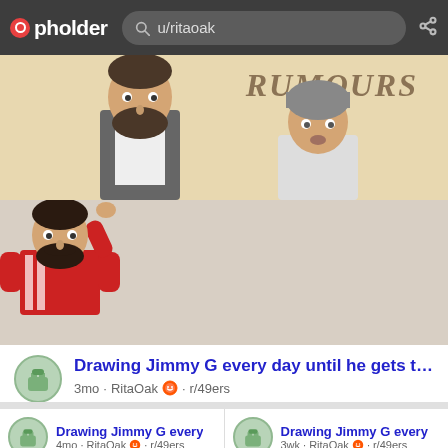pholder — u/ritaoak
[Figure (illustration): Two illustrated panels: top panel shows a bearded man in a vest and a person with a beanie with 'RUMOURS' text in the background (stylized album cover parody). Bottom panel shows a bearded man in a red jersey pointing at a cork board covered with papers connected by red string lines.]
Drawing Jimmy G every day until he gets traded. Day 1
3mo · RitaOak · r/49ers
Drawing Jimmy G every
4mo · RitaOak · r/49ers
Drawing Jimmy G every
3wk · RitaOak · r/49ers
[Figure (illustration): Partial bottom illustration — two images cropped at bottom of page, showing outdoors/nature scenes in illustrated style.]